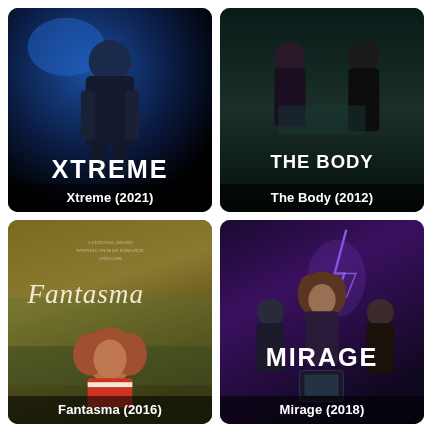[Figure (illustration): Movie poster for Xtreme (2021). Dark blue-toned poster showing a figure in dark clothing with the title XTREME in large bold white letters.]
Xtreme (2021)
[Figure (illustration): Movie poster for The Body (2012). Dark moody poster showing two figures with the title THE BODY in bold white letters.]
The Body (2012)
[Figure (illustration): Movie poster for Fantasma (2016). Warm golden/olive toned poster with a woman with curly reddish hair and the script title Fantasma.]
Fantasma (2016)
[Figure (illustration): Movie poster for Mirage (2018). Purple-toned poster showing a woman in the foreground with two men behind her, lightning effects and the title MIRAGE.]
Mirage (2018)